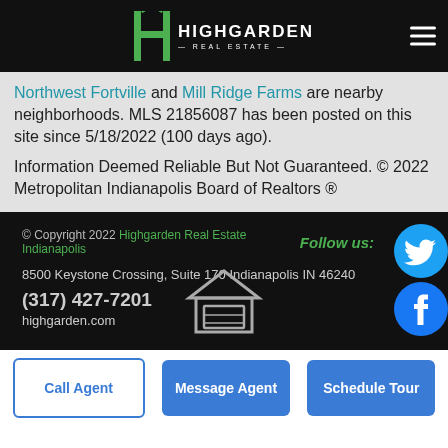Highgarden Real Estate
Northwest Fortville and Mill Ridge Farms are nearby neighborhoods. MLS 21856087 has been posted on this site since 5/18/2022 (100 days ago).
Information Deemed Reliable But Not Guaranteed. © 2022 Metropolitan Indianapolis Board of Realtors ®
© Copyright 2022 Highgarden Real Estate Indianapolis
8500 Keystone Crossing, Suite 170 Indianapolis IN 46240
(317) 427-7201
highgarden.com